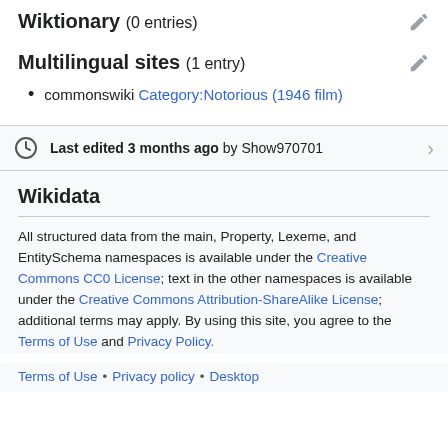Wiktionary (0 entries)
Multilingual sites (1 entry)
commonswiki Category:Notorious (1946 film)
Last edited 3 months ago by Show970701
Wikidata
All structured data from the main, Property, Lexeme, and EntitySchema namespaces is available under the Creative Commons CC0 License; text in the other namespaces is available under the Creative Commons Attribution-ShareAlike License; additional terms may apply. By using this site, you agree to the Terms of Use and Privacy Policy.
Terms of Use • Privacy policy • Desktop